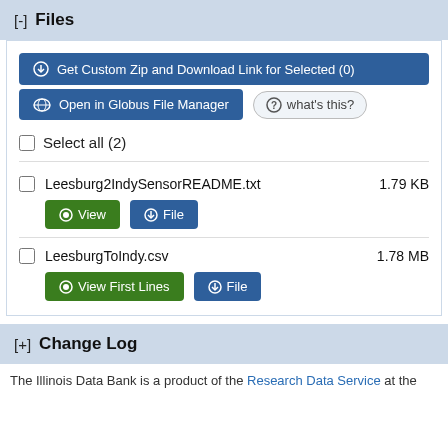[-] Files
⊕ Get Custom Zip and Download Link for Selected (0)
Open in Globus File Manager   ⓘ what's this?
Select all (2)
Leesburg2IndySensorREADME.txt   1.79 KB  [View] [File]
LeesburgToIndy.csv   1.78 MB  [View First Lines] [File]
[+] Change Log
The Illinois Data Bank is a product of the Research Data Service at the